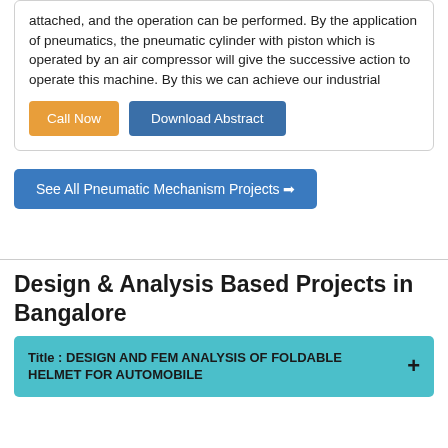attached, and the operation can be performed. By the application of pneumatics, the pneumatic cylinder with piston which is operated by an air compressor will give the successive action to operate this machine. By this we can achieve our industrial
Call Now
Download Abstract
See All Pneumatic Mechanism Projects →
Design & Analysis Based Projects in Bangalore
Title : DESIGN AND FEM ANALYSIS OF FOLDABLE HELMET FOR AUTOMOBILE